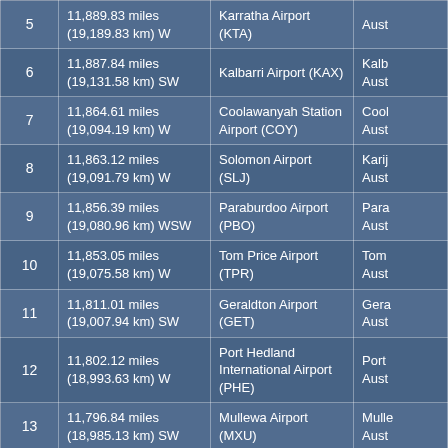| # | Distance | Airport | Location |
| --- | --- | --- | --- |
| 5 | 11,889.83 miles
(19,189.83 km) W | Karratha Airport (KTA) | Aust... |
| 6 | 11,887.84 miles
(19,131.58 km) SW | Kalbarri Airport (KAX) | Kalb...
Aust... |
| 7 | 11,864.61 miles
(19,094.19 km) W | Coolawanyah Station Airport (COY) | Cool...
Aust... |
| 8 | 11,863.12 miles
(19,091.79 km) W | Solomon Airport (SLJ) | Karij...
Aust... |
| 9 | 11,856.39 miles
(19,080.96 km) WSW | Paraburdoo Airport (PBO) | Para...
Aust... |
| 10 | 11,853.05 miles
(19,075.58 km) W | Tom Price Airport (TPR) | Tom...
Aust... |
| 11 | 11,811.01 miles
(19,007.94 km) SW | Geraldton Airport (GET) | Gera...
Aust... |
| 12 | 11,802.12 miles
(18,993.63 km) W | Port Hedland International Airport (PHE) | Port...
Aust... |
| 13 | 11,796.84 miles
(18,985.13 km) SW | Mullewa Airport (MXU) | Mulle...
Aust... |
| 14 | 11,792.17 miles
(18,977.61 km) W | Coondewanna Airport (CJF) | Coo...
Aust... |
| 15 | 11,771.40 miles
(18,944.18 km) W | Barimunya Airport (BYP) | Barim...
Aust... |